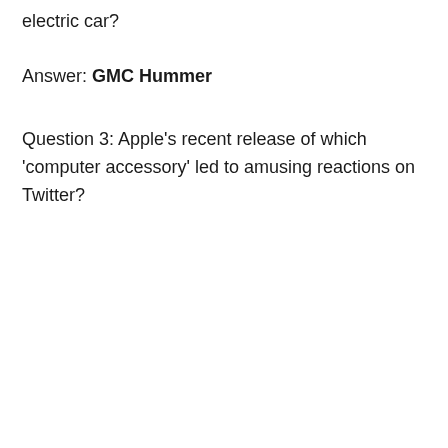electric car?
Answer: GMC Hummer
Question 3: Apple's recent release of which 'computer accessory' led to amusing reactions on Twitter?